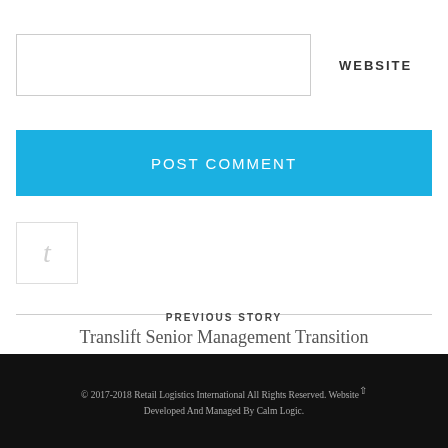WEBSITE
POST COMMENT
[Figure (illustration): Twitter bird icon in light gray inside a square border]
PREVIOUS STORY
Translift Senior Management Transition
NEXT STORY
The logistics of planning for Christmas.
© 2017-2018 Retail Logistics International All Rights Reserved. Website Developed And Managed By Calm Logic.